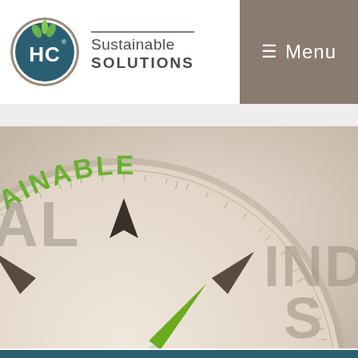[Figure (logo): HC Sustainable Solutions logo: dark teal circle with HC letters and green plant leaves on top, beside the text 'Sustainable SOLUTIONS' with a dividing line]
[Figure (other): Menu navigation button with hamburger icon (three horizontal lines) and the word Menu on a brown/taupe background]
[Figure (photo): Close-up photo of a compass with its needle pointing toward the word SUSTAINABLE in green arched text along the top of the compass face. Text 'INDUS' (partial word) visible on the right side of the compass. The compass has a classic star wind-rose design on a beige/cream dial.]